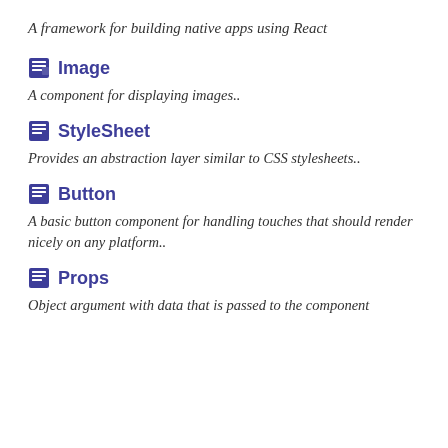A framework for building native apps using React
Image
A component for displaying images..
StyleSheet
Provides an abstraction layer similar to CSS stylesheets..
Button
A basic button component for handling touches that should render nicely on any platform..
Props
Object argument with data that is passed to the component